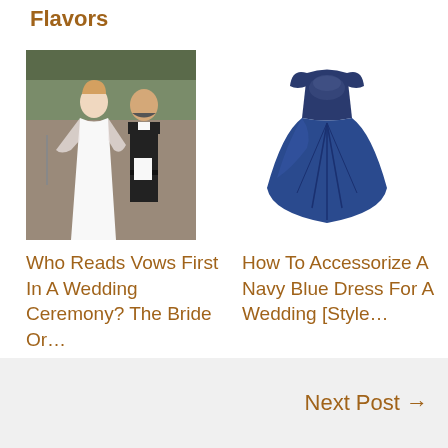Flavors
[Figure (photo): Bride and officiant at outdoor wedding ceremony, bride in white dress]
[Figure (photo): Navy blue ball gown dress with lace bodice on white background]
Who Reads Vows First In A Wedding Ceremony? The Bride Or…
How To Accessorize A Navy Blue Dress For A Wedding [Style…
Next Post →